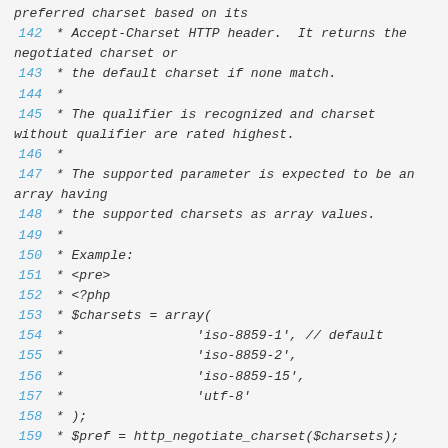preferred charset based on its
 142  * Accept-Charset HTTP header.  It returns the negotiated charset or
 143  * the default charset if none match.
 144  *
 145  * The qualifier is recognized and charset without qualifier are rated highest.
 146  *
 147  * The supported parameter is expected to be an array having
 148  * the supported charsets as array values.
 149  *
 150  * Example:
 151  * <pre>
 152  * <?php
 153  * $charsets = array(
 154  *                 'iso-8859-1', // default
 155  *                 'iso-8859-2',
 156  *                 'iso-8859-15',
 157  *                 'utf-8'
 158  * );
 159  * $pref = http_negotiate_charset($charsets);
 160  * if (!strcmp($pref, 'iso-8859-1')) {
 161  *
icopy_set_encoding('internal_encoding', 'iso-8850...